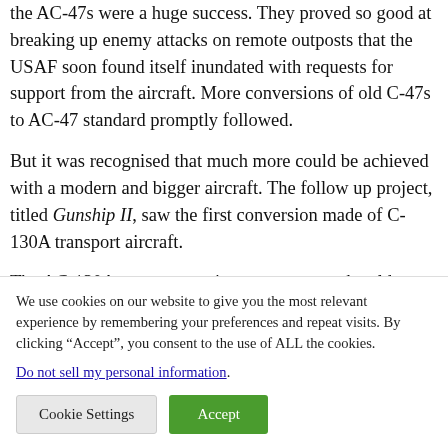the AC-47s were a huge success. They proved so good at breaking up enemy attacks on remote outposts that the USAF soon found itself inundated with requests for support from the aircraft. More conversions of old C-47s to AC-47 standard promptly followed.
But it was recognised that much more could be achieved with a modern and bigger aircraft. The follow up project, titled Gunship II, saw the first conversion made of C-130A transport aircraft.
The AC-130As were a vast improvement on the old
We use cookies on our website to give you the most relevant experience by remembering your preferences and repeat visits. By clicking “Accept”, you consent to the use of ALL the cookies.
Do not sell my personal information.